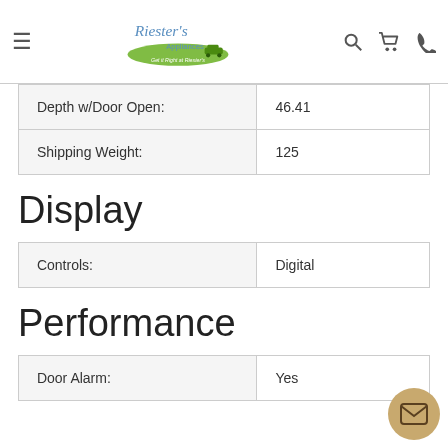Riester's Appliances – Get it Right at Riester's
| Depth w/Door Open: | 46.41 |
| Shipping Weight: | 125 |
Display
| Controls: | Digital |
Performance
| Door Alarm: | Yes |